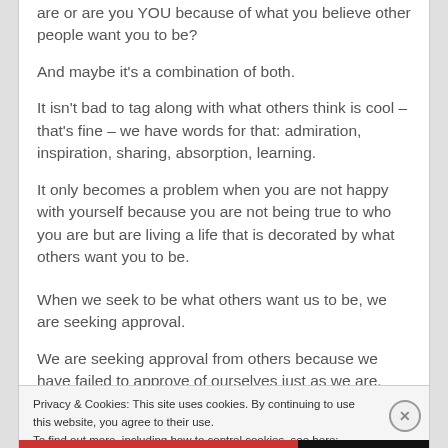are or are you YOU because of what you believe other people want you to be?
And maybe it's a combination of both.
It isn't bad to tag along with what others think is cool – that's fine – we have words for that: admiration, inspiration, sharing, absorption, learning.
It only becomes a problem when you are not happy with yourself because you are not being true to who you are but are living a life that is decorated by what others want you to be.
When we seek to be what others want us to be, we are seeking approval.
We are seeking approval from others because we have failed to approve of ourselves just as we are.
Privacy & Cookies: This site uses cookies. By continuing to use this website, you agree to their use.
To find out more, including how to control cookies, see here: Cookie Policy